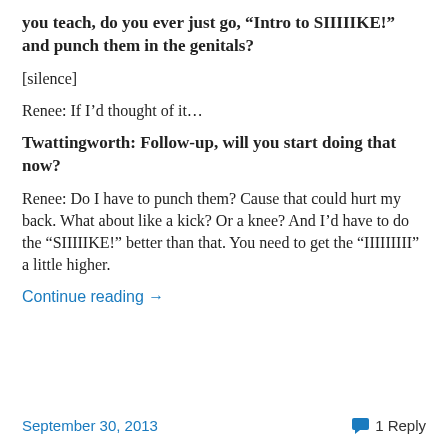you teach, do you ever just go, “Intro to SIIIIIKE!” and punch them in the genitals?
[silence]
Renee: If I’d thought of it…
Twattingworth: Follow-up, will you start doing that now?
Renee: Do I have to punch them? Cause that could hurt my back. What about like a kick? Or a knee? And I’d have to do the “SIIIIIIKE!” better than that. You need to get the “IIIIIIIII” a little higher.
Continue reading →
September 30, 2013   1 Reply